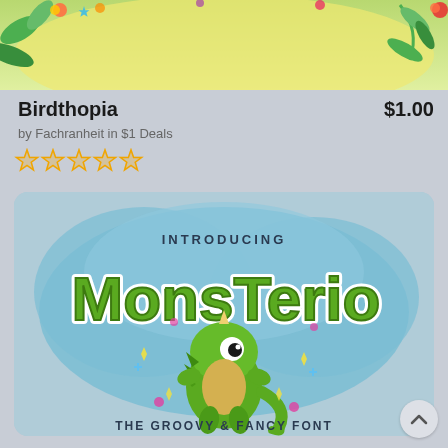[Figure (illustration): Top banner showing a tropical/jungle scene with colorful flowers and leaves on a yellow-green background]
Birdthopia
$1.00
by Fachranheit in $1 Deals
[Figure (illustration): Five gold star rating icons]
[Figure (illustration): Font preview card showing 'MonsTério - The Groovy & Fancy Font' with a cute cartoon green monster/dinosaur on a blue cloud background with colorful stars and sparkles]